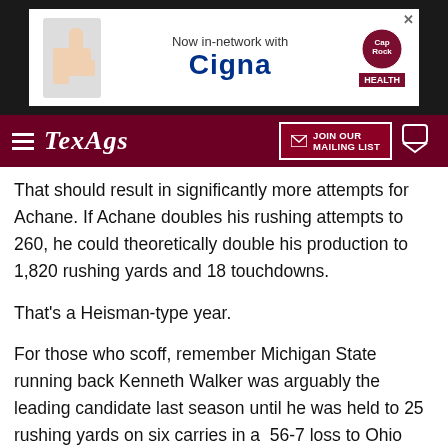[Figure (screenshot): Advertisement banner for CapRock Health showing 'Now in-network with Cigna' with a thumbs up hand image and CapRock Health logo on dark background]
TexAgs — JOIN OUR MAILING LIST
That should result in significantly more attempts for Achane. If Achane doubles his rushing attempts to 260, he could theoretically double his production to 1,820 rushing yards and 18 touchdowns.
That's a Heisman-type year.
For those who scoff, remember Michigan State running back Kenneth Walker was arguably the leading candidate last season until he was held to 25 rushing yards on six carries in a  56-7 loss to Ohio State on Nov. 20.
Walker finished last season with 263 carries for 1,636 yards and 18 touchdowns.
Further, Achane is more of a receiving threat than Walker was. Last season, Walker had 13 catches for 18 yards.